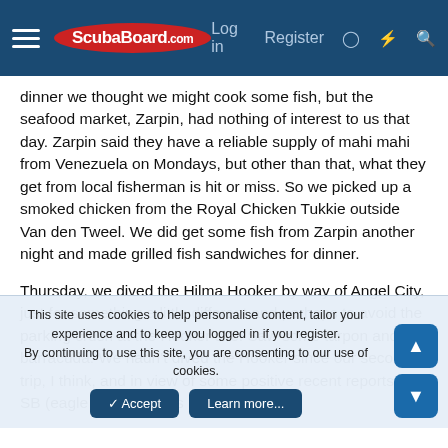ScubaBoard.com — Log in  Register
dinner we thought we might cook some fish, but the seafood market, Zarpin, had nothing of interest to us that day. Zarpin said they have a reliable supply of mahi mahi from Venezuela on Mondays, but other than that, what they get from local fisherman is hit or miss. So we picked up a smoked chicken from the Royal Chicken Tukkie outside Van den Tweel. We did get some fish from Zarpin another night and made grilled fish sandwiches for dinner.
Thursday, we dived the Hilma Hooker by way of Angel City, just for something a little different and perhaps to avoid the parking crush at the Hooker site. Saw some tarpon and barracuda. We hadn't dived the Hooker since our second trip, I think, and in view of some positive recent reports on SB (eagle rays?!) it was
This site uses cookies to help personalise content, tailor your experience and to keep you logged in if you register.
By continuing to use this site, you are consenting to our use of cookies.